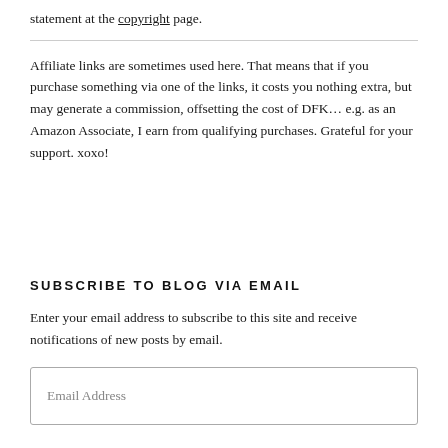statement at the copyright page.
Affiliate links are sometimes used here. That means that if you purchase something via one of the links, it costs you nothing extra, but may generate a commission, offsetting the cost of DFK… e.g. as an Amazon Associate, I earn from qualifying purchases. Grateful for your support. xoxo!
SUBSCRIBE TO BLOG VIA EMAIL
Enter your email address to subscribe to this site and receive notifications of new posts by email.
Email Address